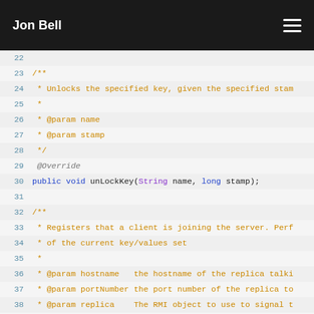Jon Bell
[Figure (screenshot): Java code snippet showing interface methods with Javadoc comments, line numbers 22-48, on a light gray background. Methods include unLockKey and registerClient with @Override annotations.]